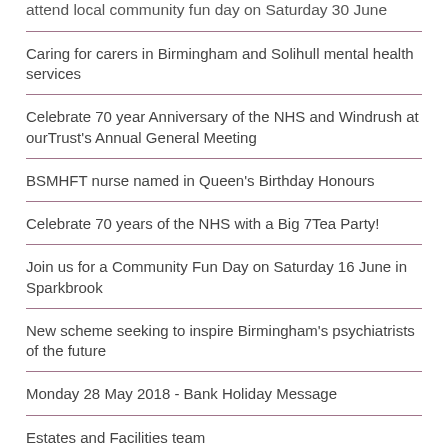attend local community fun day on Saturday 30 June
Caring for carers in Birmingham and Solihull mental health services
Celebrate 70 year Anniversary of the NHS and Windrush at ourTrust's Annual General Meeting
BSMHFT nurse named in Queen's Birthday Honours
Celebrate 70 years of the NHS with a Big 7Tea Party!
Join us for a Community Fun Day on Saturday 16 June in Sparkbrook
New scheme seeking to inspire Birmingham's psychiatrists of the future
Monday 28 May 2018 - Bank Holiday Message
Estates and Facilities team